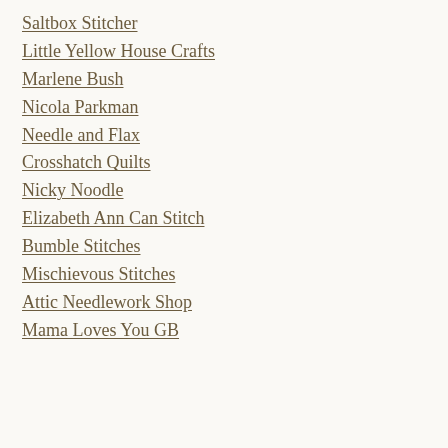Saltbox Stitcher
Little Yellow House Crafts
Marlene Bush
Nicola Parkman
Needle and Flax
Crosshatch Quilts
Nicky Noodle
Elizabeth Ann Can Stitch
Bumble Stitches
Mischievous Stitches
Attic Needlework Shop
Mama Loves You GB